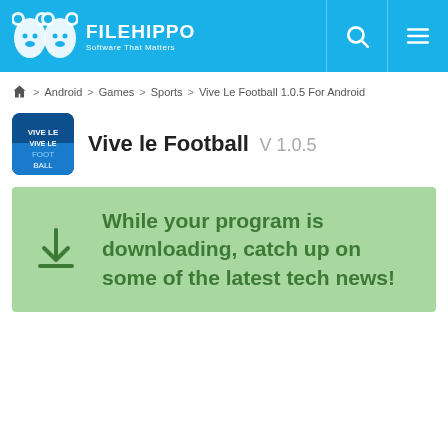FileHippo — Software That Matters
Home > Android > Games > Sports > Vive Le Football 1.0.5 For Android
Vive le Football V 1.0.5
While your program is downloading, catch up on some of the latest tech news!